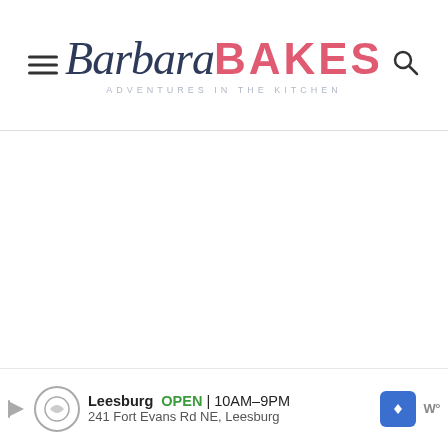Barbara BAKES — ADVENTURES in the KITCHEN
[Figure (photo): Large white/blank image area below the header, representing a food photo placeholder]
ST. PATRICK'S DAY RICE
[Figure (infographic): Advertisement banner: Leesburg OPEN 10AM-9PM, 241 Fort Evans Rd NE, Leesburg with navigation icons]